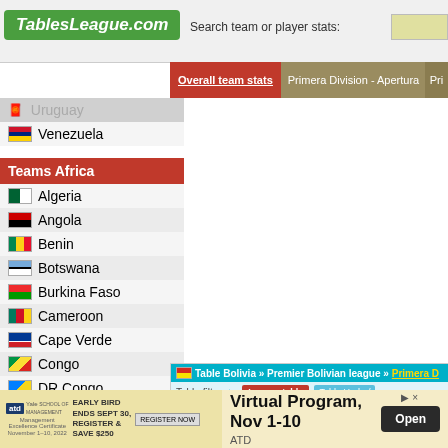TablesLeague.com — Search team or player stats:
Overall team stats | Primera Division - Apertura | Pri...
Uruguay (partial)
Venezuela
Teams Africa
Algeria
Angola
Benin
Botswana
Burkina Faso
Cameroon
Cape Verde
Congo
DR Congo
[Figure (screenshot): Bolivia league table panel showing Table Bolivia >> Premier Bolivian league >> Primera D, with filter options League table and Table Under/, a round selector dropdown, and table header columns Pos, Team, M, W, D]
[Figure (screenshot): Advertisement: Virtual Program, Nov 1-10 by ATD with Yale School of Management, Early Bird ends Sept 30, Register & Save $250. Open button.]